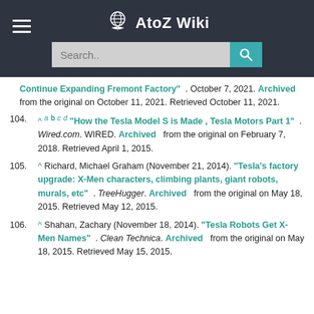AtoZ Wiki
Continue Expanding Fremont Factory" . October 7, 2021. Archived from the original on October 11, 2021. Retrieved October 11, 2021.
104. ^ a b c d "How the Tesla Model S is Made , Tesla Motors Part 1" . Wired.com. WIRED. Archived from the original on February 7, 2018. Retrieved April 1, 2015.
105. ^ Richard, Michael Graham (November 21, 2014). "Tesla's factory upgrade: X-Men characters, climbing plants, giant robots, murals, etc" . TreeHugger. Archived from the original on May 18, 2015. Retrieved May 12, 2015.
106. ^ Shahan, Zachary (November 18, 2014). "Tesla Robots Get X-Men Names" . Clean Technica. Archived from the original on May 18, 2015. Retrieved May 15, 2015.